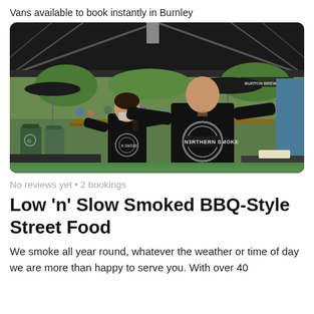Vans available to book instantly in Burnley
[Figure (photo): Two staff members wearing black Northern Smoke branded t-shirts viewed from behind, standing at a food van at an outdoor brewery or pub event with crowds, picnic tables, and dark umbrellas in the background.]
No reviews yet • 2 bookings
Low 'n' Slow Smoked BBQ-Style Street Food
We smoke all year round, whatever the weather or time of day we are more than happy to serve you. With over 40